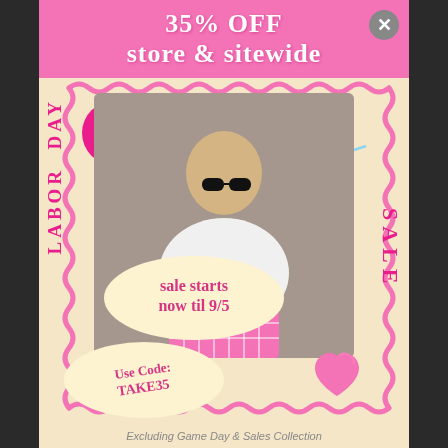35% OFF store & sitewide
[Figure (photo): Promotional advertisement for Labor Day Sale showing a blonde woman wearing sunglasses, a white 'Spooky' sweatshirt, and a pink checkered mini skirt against a stone wall background. The image includes decorative pink wavy border, smiley face emoji, heart sunglasses illustration, and pink heart illustration.]
LABOR DAY
SALE
sale starts now til 9/5
Use Code: TAKE35
Excluding Game Day & Sales Collection